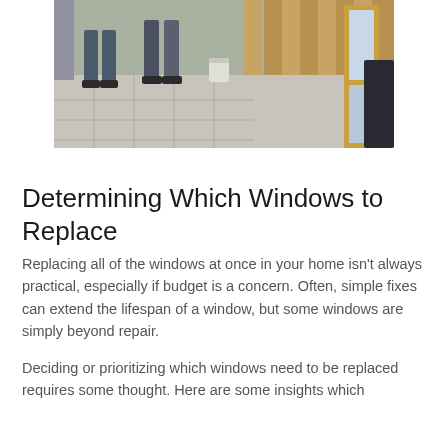[Figure (photo): Workers installing windows in a room with wood-paneled walls and large floor tiles. A wooden window frame is visible in the foreground on the right.]
Determining Which Windows to Replace
Replacing all of the windows at once in your home isn’t always practical, especially if budget is a concern. Often, simple fixes can extend the lifespan of a window, but some windows are simply beyond repair.
Deciding or prioritizing which windows need to be replaced requires some thought. Here are some insights which